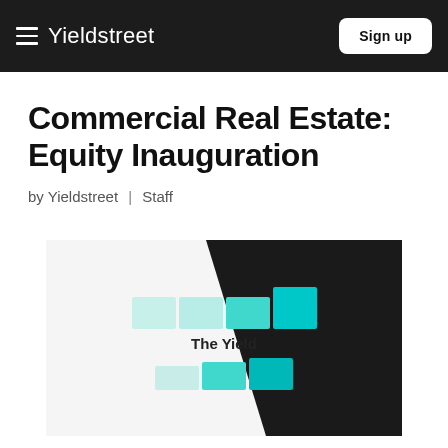Yieldstreet   Sign up
Commercial Real Estate: Equity Inauguration
by Yieldstreet | Staff
[Figure (illustration): Podcast cover image showing 'The Yield Episode 29' with teal/cyan colored blocks on a diagonal black and white background]
Episode 29